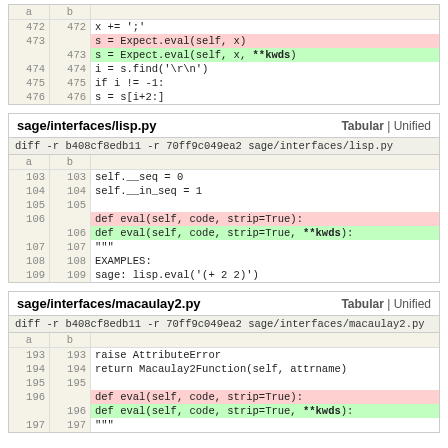| a | b | code |
| --- | --- | --- |
| 472 | 472 | x += ';' |
| 473 |  | s = Expect.eval(self, x) |
|  | 473 | s = Expect.eval(self, x, **kwds) |
| 474 | 474 | i = s.find('\r\n') |
| 475 | 475 | if i != -1: |
| 476 | 476 | s = s[i+2:] |
sage/interfaces/lisp.py
| a | b | code |
| --- | --- | --- |
| 103 | 103 | self.__seq = 0 |
| 104 | 104 | self.__in_seq = 1 |
| 105 | 105 |  |
| 106 |  | def eval(self, code, strip=True): |
|  | 106 | def eval(self, code, strip=True, **kwds): |
| 107 | 107 | """ |
| 108 | 108 | EXAMPLES: |
| 109 | 109 | sage: lisp.eval('(+ 2 2)') |
sage/interfaces/macaulay2.py
| a | b | code |
| --- | --- | --- |
| 193 | 193 | raise AttributeError |
| 194 | 194 | return Macaulay2Function(self, attrname) |
| 195 | 195 |  |
| 196 |  | def eval(self, code, strip=True): |
|  | 196 | def eval(self, code, strip=True, **kwds): |
| 197 | 197 | """ |